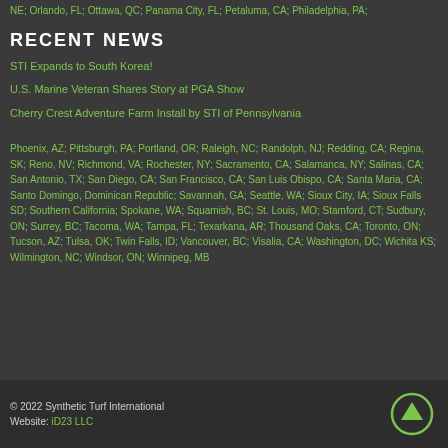NE; Orlando, FL; Ottawa, QC; Panama City, FL; Petaluma, CA; Philadelphia, PA;
RECENT NEWS
STI Expands to South Korea!
U.S. Marine Veteran Shares Story at PGA Show
Cherry Crest Adventure Farm Install by STI of Pennsylvania
Phoenix, AZ; Pittsburgh, PA; Portland, OR; Raleigh, NC; Randolph, NJ; Redding, CA; Regina, SK; Reno, NV; Richmond, VA; Rochester, NY; Sacramento, CA; Salamanca, NY; Salinas, CA; San Antonio, TX; San Diego, CA; San Francisco, CA; San Luis Obispo, CA; Santa Maria, CA; Santo Domingo, Dominican Republic; Savannah, GA; Seattle, WA; Sioux City, IA; Sioux Falls SD; Southern California; Spokane, WA; Squamish, BC; St. Louis, MO; Stamford, CT; Sudbury, ON; Surrey, BC; Tacoma, WA; Tampa, FL; Texarkana, AR; Thousand Oaks, CA; Toronto, ON; Tucson, AZ; Tulsa, OK; Twin Falls, ID; Vancouver, BC; Visalia, CA; Washington, DC; Wichita KS; Wilmington, NC; Windsor, ON; Winnipeg, MB
© 2022 Synthetic Turf International
Website: iD23 LLC